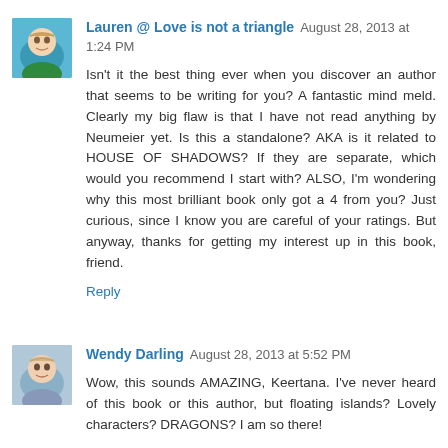Lauren @ Love is not a triangle  August 28, 2013 at 1:24 PM
Isn't it the best thing ever when you discover an author that seems to be writing for you? A fantastic mind meld. Clearly my big flaw is that I have not read anything by Neumeier yet. Is this a standalone? AKA is it related to HOUSE OF SHADOWS? If they are separate, which would you recommend I start with? ALSO, I'm wondering why this most brilliant book only got a 4 from you? Just curious, since I know you are careful of your ratings. But anyway, thanks for getting my interest up in this book, friend.
Reply
Wendy Darling  August 28, 2013 at 5:52 PM
Wow, this sounds AMAZING, Keertana. I've never heard of this book or this author, but floating islands? Lovely characters? DRAGONS? I am so there!
I know what you mean about not being able to find the